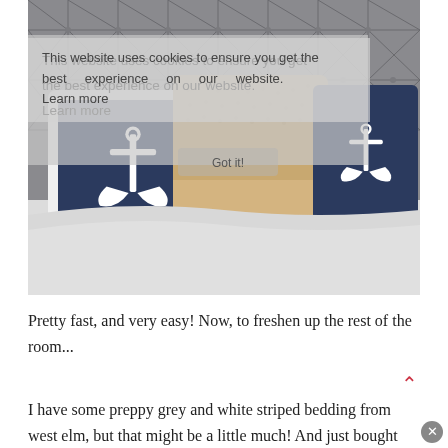[Figure (photo): A bed with white bedding and decorative pillows — two navy blue anchor-print pillows and one gold/tan sequined pillow — against a tufted grey headboard. A semi-transparent cookie consent overlay is visible in the upper left of the photo.]
This website uses cookies to ensure you get the best experience on our website. Learn more
Pretty fast, and very easy! Now, to freshen up the rest of the room...
I have some preppy grey and white striped bedding from west elm, but that might be a little much! And just bought more gold